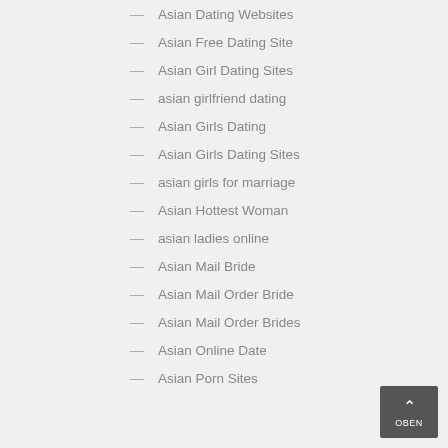Asian Dating Websites
Asian Free Dating Site
Asian Girl Dating Sites
asian girlfriend dating
Asian Girls Dating
Asian Girls Dating Sites
asian girls for marriage
Asian Hottest Woman
asian ladies online
Asian Mail Bride
Asian Mail Order Bride
Asian Mail Order Brides
Asian Online Date
Asian Porn Sites